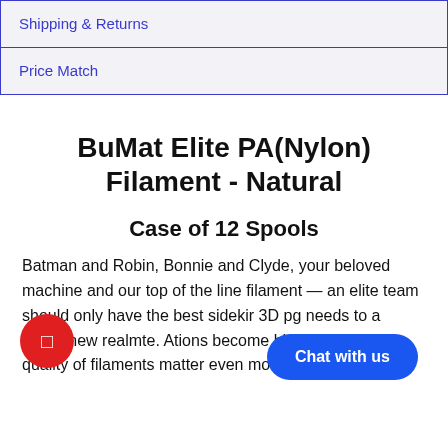Shipping & Returns
Price Match
BuMat Elite PA(Nylon) Filament - Natural
Case of 12 Spools
Batman and Robin, Bonnie and Clyde, your beloved machine and our top of the line filament — an elite team should only have the best sideki… ur 3D p…g needs to a whole new realm…te. A…tions become bigger and more…quality of filaments matter even more. Depending on